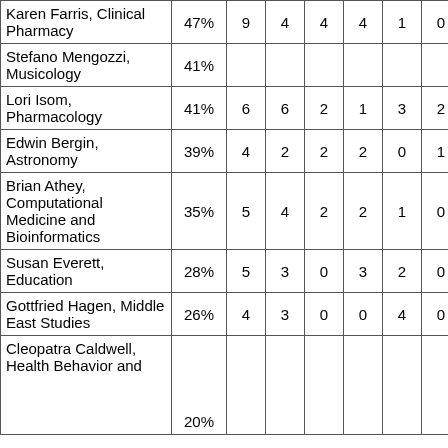| Name | % | C1 | C2 | C3 | C4 | C5 | C6 | Score |  |
| --- | --- | --- | --- | --- | --- | --- | --- | --- | --- |
| Karen Farris, Clinical Pharmacy | 47% | 9 | 4 | 4 | 4 | 1 | 0 | 4.00 |  |
| Stefano Mengozzi, Musicology | 41% |  |  |  |  |  |  | 4.00 |  |
| Lori Isom, Pharmacology | 41% | 6 | 6 | 2 | 1 | 3 | 2 | 4.00 |  |
| Edwin Bergin, Astronomy | 39% | 4 | 2 | 2 | 2 | 0 | 1 | 4.00 |  |
| Brian Athey, Computational Medicine and Bioinformatics | 35% | 5 | 4 | 2 | 2 | 1 | 0 | 4.00 |  |
| Susan Everett, Education | 28% | 5 | 3 | 0 | 3 | 2 | 0 | 4.00 |  |
| Gottfried Hagen, Middle East Studies | 26% | 4 | 3 | 0 | 0 | 4 | 0 | 4.00 |  |
| Cleopatra Caldwell, Health Behavior and... | 20% |  |  |  |  |  |  | 4.00 |  |